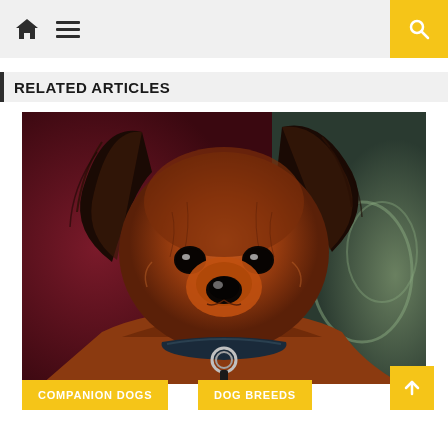Navigation header with home icon, menu icon, and search button
RELATED ARTICLES
[Figure (photo): Close-up photo of a small long-haired brown and black dog (Russian Toy Terrier) wearing a collar with a ring, looking at the camera with dark eyes, against a dark red and blue patterned background.]
COMPANION DOGS
DOG BREEDS